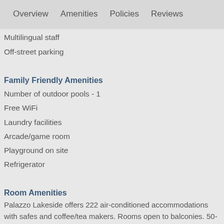Overview   Amenities   Policies   Reviews
Multilingual staff
Off-street parking
Family Friendly Amenities
Number of outdoor pools - 1
Free WiFi
Laundry facilities
Arcade/game room
Playground on site
Refrigerator
Room Amenities
Palazzo Lakeside offers 222 air-conditioned accommodations with safes and coffee/tea makers. Rooms open to balconies. 50-inch flat-screen televisions come with cable channels. Bathrooms include showers and hair dryers. This Kissimmee hotel provides complimentary wireless Internet access. Additionally, rooms include irons/ironing boards and blackout drapes/curtains. Change of towels and change of bedsheets can be requested. Housekeeping is provided weekly. Renovation of all